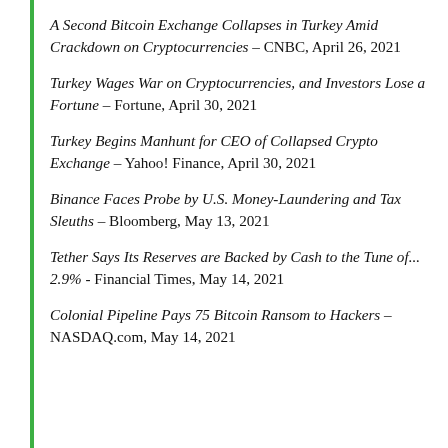A Second Bitcoin Exchange Collapses in Turkey Amid Crackdown on Cryptocurrencies – CNBC, April 26, 2021
Turkey Wages War on Cryptocurrencies, and Investors Lose a Fortune – Fortune, April 30, 2021
Turkey Begins Manhunt for CEO of Collapsed Crypto Exchange – Yahoo! Finance, April 30, 2021
Binance Faces Probe by U.S. Money-Laundering and Tax Sleuths – Bloomberg, May 13, 2021
Tether Says Its Reserves are Backed by Cash to the Tune of... 2.9% - Financial Times, May 14, 2021
Colonial Pipeline Pays 75 Bitcoin Ransom to Hackers – NASDAQ.com, May 14, 2021